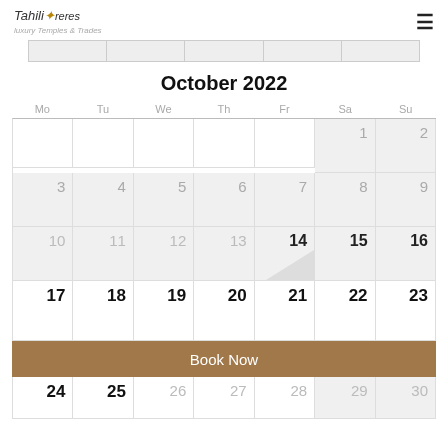Tahiti Tourers - luxury Temples & Trades
October 2022
| Mo | Tu | We | Th | Fr | Sa | Su |
| --- | --- | --- | --- | --- | --- | --- |
|  |  |  |  |  | 1 | 2 |
| 3 | 4 | 5 | 6 | 7 | 8 | 9 |
| 10 | 11 | 12 | 13 | 14 | 15 | 16 |
| 17 | 18 | 19 | 20 | 21 | 22 | 23 |
| 24 | 25 | 26 | 27 | 28 | 29 | 30 |